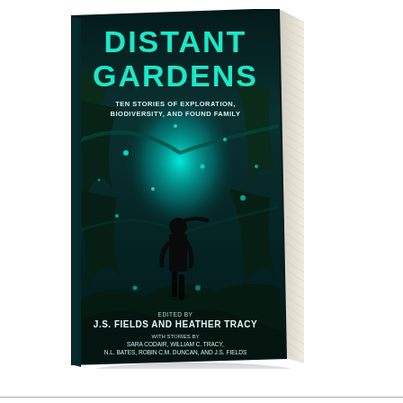[Figure (illustration): A 3D paperback book with a sci-fi fantasy cover titled 'DISTANT GARDENS'. The cover shows a silhouetted figure standing in a bioluminescent alien jungle/garden with glowing teal light. The title 'DISTANT GARDENS' appears in large teal distressed letters at the top. Below the title is the subtitle 'TEN STORIES OF EXPLORATION, BIODIVERSITY, AND FOUND FAMILY'. At the bottom of the cover: 'EDITED BY J.S. FIELDS AND HEATHER TRACY' and 'WITH STORIES BY SARA CODAIR, WILLIAM C. TRACY, N.L. BATES, ROBIN C.M. DUNCAN, AND J.S. FIELDS'. The book is shown at a slight angle with visible spine and pages on the right side, casting a shadow on a white background.]